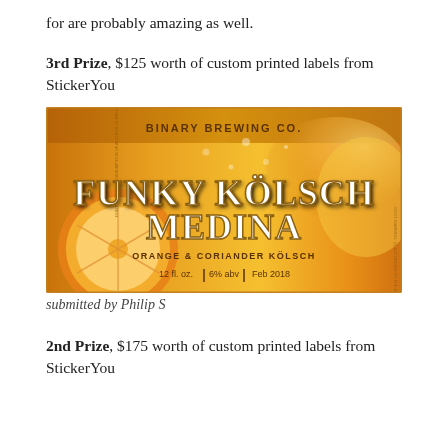for are probably amazing as well.
3rd Prize, $125 worth of custom printed labels from StickerYou
[Figure (photo): Beer label for 'Funky Kölsch Medina' by Binary Brewing Co. — orange and coriander kölsch, 12 fl. oz., 6% abv, Feb 2018. Golden/orange background with orange slices and liquid splash.]
submitted by Philip S
2nd Prize, $175 worth of custom printed labels from StickerYou